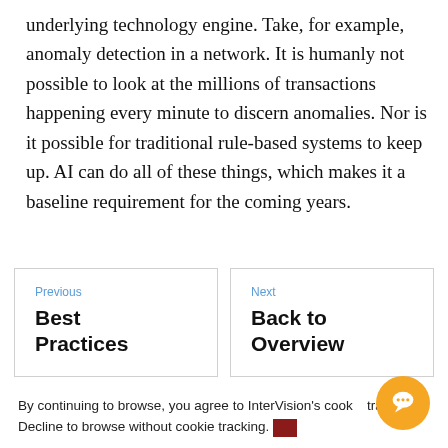underlying technology engine. Take, for example, anomaly detection in a network. It is humanly not possible to look at the millions of transactions happening every minute to discern anomalies. Nor is it possible for traditional rule-based systems to keep up. AI can do all of these things, which makes it a baseline requirement for the coming years.
Previous
Best Practices
Next
Back to Overview
By continuing to browse, you agree to InterVision's cookie tracking. Decline to browse without cookie tracking.